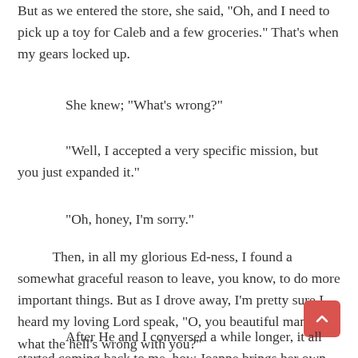But as we entered the store, she said, "Oh, and I need to pick up a toy for Caleb and a few groceries." That's when my gears locked up.
She knew; "What's wrong?"
"Well, I accepted a very specific mission, but you just expanded it."
"Oh, honey, I'm sorry."
Then, in all my glorious Ed-ness, I found a somewhat graceful reason to leave, you know, to do more important things. But as I drove away, I'm pretty sure I heard my loving Lord speak, "O, you beautiful man, what the hell's wrong with you?"
After He and I conversed a while longer, it all started coming back to me, how Joanne brings her own gifts, skills,